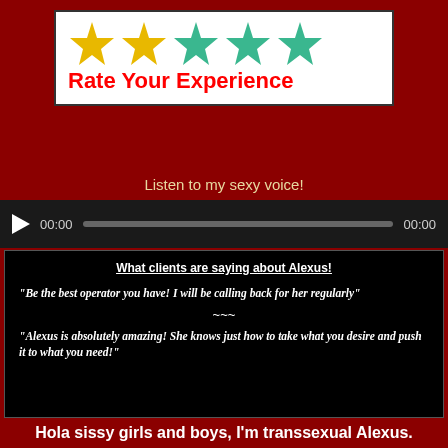[Figure (infographic): Rate Your Experience box with 5 stars (2 gold, 3 teal/green) and red bold text 'Rate Your Experience']
Listen to my sexy voice!
[Figure (infographic): Audio player bar with play button, 00:00 timestamps and a progress bar]
What clients are saying about Alexus!
"Be the best operator you have! I will be calling back for her regularly"
~~~
"Alexus is absolutely amazing! She knows just how to take what you desire and push it to what you need!"
Hola sissy girls and boys, I'm transsexual Alexus.
A stunning five foot ten inches of tanned beauty and sexy